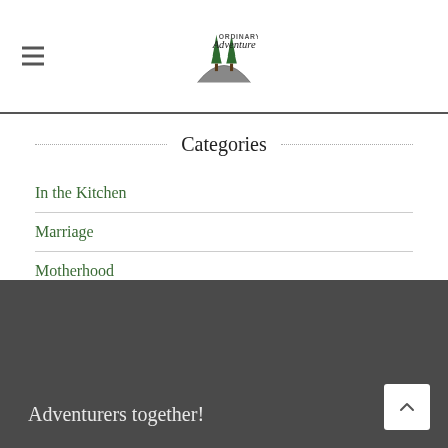Ordinary Adventure
Categories
In the Kitchen
Marriage
Motherhood
Ordinary Moments
The Extraordinary Adventure
Uncategorized
Adventurers together!